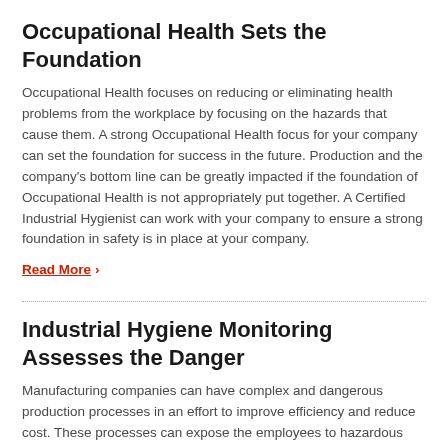Occupational Health Sets the Foundation
Occupational Health focuses on reducing or eliminating health problems from the workplace by focusing on the hazards that cause them. A strong Occupational Health focus for your company can set the foundation for success in the future. Production and the company's bottom line can be greatly impacted if the foundation of Occupational Health is not appropriately put together. A Certified Industrial Hygienist can work with your company to ensure a strong foundation in safety is in place at your company.
Read More ›
Industrial Hygiene Monitoring Assesses the Danger
Manufacturing companies can have complex and dangerous production processes in an effort to improve efficiency and reduce cost. These processes can expose the employees to hazardous environments along the way. Industrial Hygiene